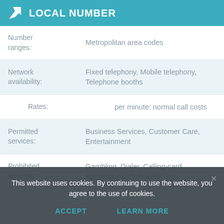LOCAL NUMBER
| Field | Value |
| --- | --- |
| Number ranges: | Metropolitan area codes |
| Network availability: | Fixed telephony, Mobile telephony, Telephone booths |
| Rates: | per minute: normal call costs |
| Permitted services: | Business Services, Customer Care, Entertainment |
| Prohibited services: | Gambling, Dialer, Calling-card Applications, Outbound |
This website uses cookies. By continuing to use the website, you agree to the use of cookies.
ACCEPT   LEARN MORE